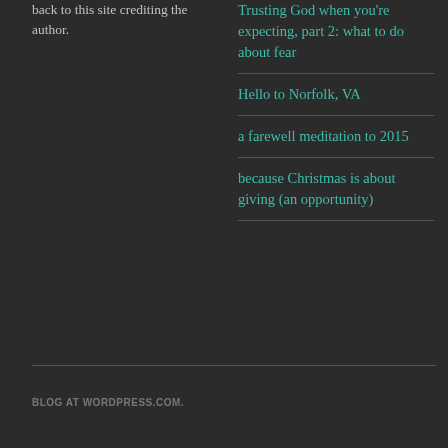back to this site crediting the author.
Trusting God when you're expecting, part 2: what to do about fear
Hello to Norfolk, VA
a farewell meditation to 2015
because Christmas is about giving (an opportunity)
BLOG AT WORDPRESS.COM.